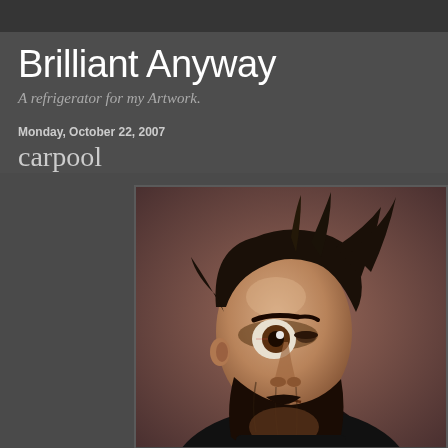Brilliant Anyway
A refrigerator for my Artwork.
Monday, October 22, 2007
carpool
[Figure (illustration): Digital caricature illustration of a bearded man with dark hair and an exaggerated wide eye, depicted in a semi-realistic style with dark brown tones]